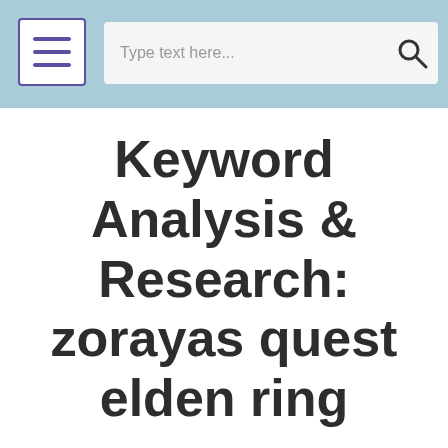Keyword Analysis & Research: zorayas quest elden ring
Keyword Analysis & Research: zorayas quest elden ring